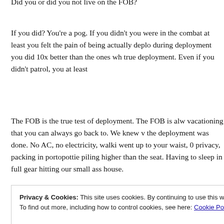Did you or did you not live on the FOB?
If you did? You're a pog. If you didn't you were in the combat at least you felt the pain of being actually deployed during deployment you did 10x better than the ones who true deployment. Even if you didn't patrol, you at least
The FOB is the true test of deployment. The FOB is always vacationing that you can always go back to. We knew when the deployment was done. No AC, no electricity, walking went up to your waist, 0 privacy, packing in portopotties piling higher than the seat. Having to sleep in full gear hitting our small ass house.
Privacy & Cookies: This site uses cookies. By continuing to use this website, you agree to their use.
To find out more, including how to control cookies, see here: Cookie Policy
Close and accept
dessert stations, ice cream, energy drinks. Also if you e